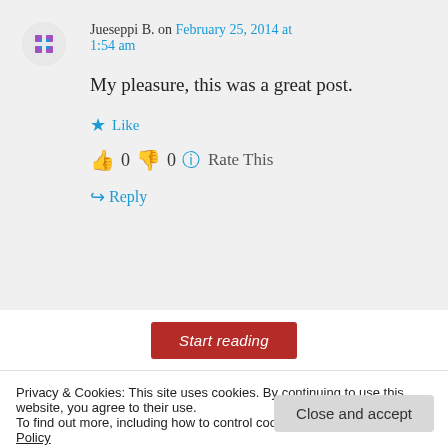Jueseppi B. on February 25, 2014 at 1:54 am
My pleasure, this was a great post.
Like
👍 0 👎 0 ℹ Rate This
↪ Reply
Start reading
Privacy & Cookies: This site uses cookies. By continuing to use this website, you agree to their use.
To find out more, including how to control cookies, see here: Cookie Policy
Close and accept